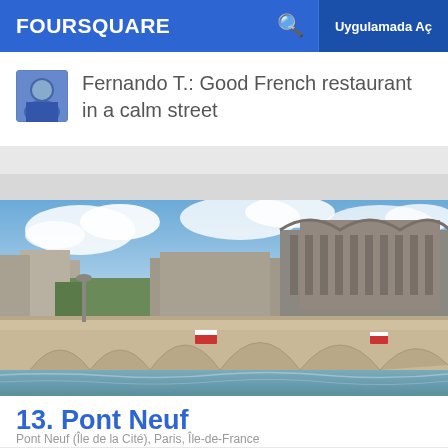FOURSQUARE  Uygulamada Aç
Fernando T.: Good French restaurant in a calm street
[Figure (photo): Photo of Pont Neuf bridge over the Seine river in Paris, with Haussmann-style buildings and a large ornate building in the background, blue sky with clouds]
13. Pont Neuf
Pont Neuf (Île de la Cité), Paris, Île-de-France
Köprü · 85 tavsiye ve inceleme
Fernando T.: It's called the "new